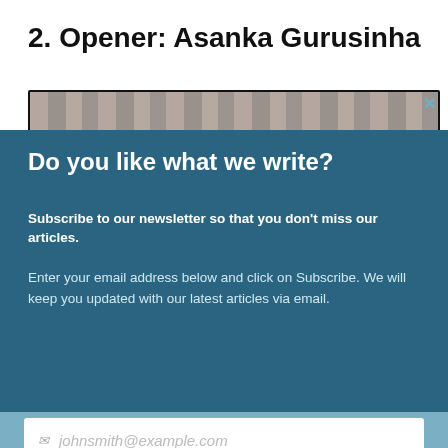2. Opener: Asanka Gurusinha
[Figure (photo): A horizontal photo strip showing a crowd of people]
Do you like what we write?
Subscribe to our newsletter so that you don't miss our articles.
Enter your email address below and click on Subscribe. We will keep you updated with our latest articles via email.
johnsmith@example.com
Subscribe
Never see this message again.